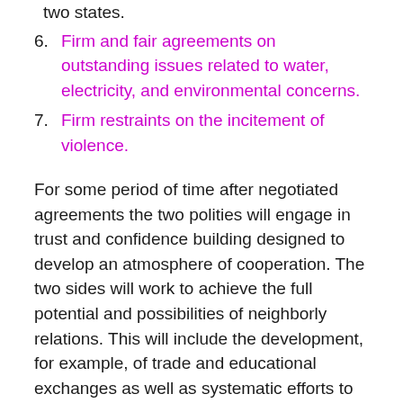two states.
6. Firm and fair agreements on outstanding issues related to water, electricity, and environmental concerns.
7. Firm restraints on the incitement of violence.
For some period of time after negotiated agreements the two polities will engage in trust and confidence building designed to develop an atmosphere of cooperation. The two sides will work to achieve the full potential and possibilities of neighborly relations. This will include the development, for example, of trade and educational exchanges as well as systematic efforts to learn about the other culture.
Of course, many of these will be difficult to achieve and there will always be those who claim naïveté with respect